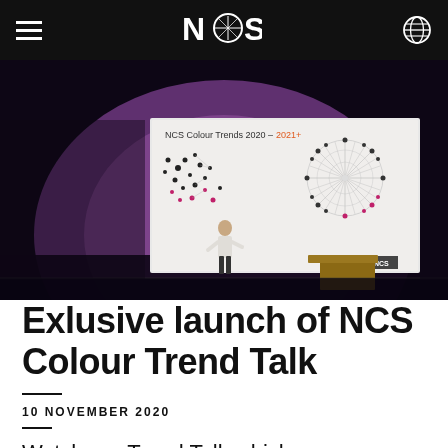NCS
[Figure (photo): A presenter on a dark stage with purple lighting, standing next to a large projection screen showing 'NCS Colour Trends 2020 – 2021+' with colour wheel diagrams]
Exlusive launch of NCS Colour Trend Talk
10 NOVEMBER 2020
Watch our Trend Talk which we gave